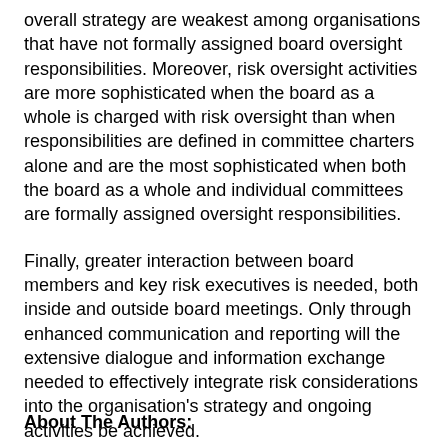overall strategy are weakest among organisations that have not formally assigned board oversight responsibilities. Moreover, risk oversight activities are more sophisticated when the board as a whole is charged with risk oversight than when responsibilities are defined in committee charters alone and are the most sophisticated when both the board as a whole and individual committees are formally assigned oversight responsibilities.
Finally, greater interaction between board members and key risk executives is needed, both inside and outside board meetings. Only through enhanced communication and reporting will the extensive dialogue and information exchange needed to effectively integrate risk considerations into the organisation's strategy and ongoing activities be achieved.
About The Authors: